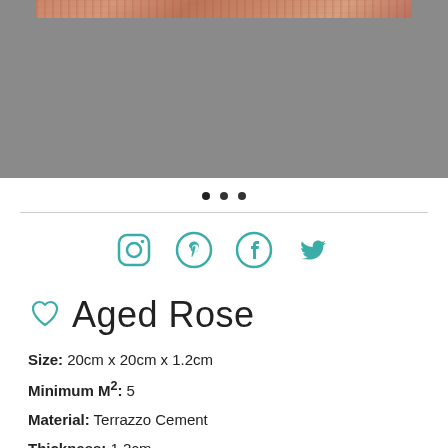[Figure (photo): Product photo of Aged Rose terrazzo cement tile on grey background, showing texture and color]
[Figure (infographic): Image carousel navigation dots (three dots)]
[Figure (infographic): Social media icons row: Instagram, Pinterest, Facebook, Twitter in teal color]
♡ Aged Rose
Size: 20cm x 20cm x 1.2cm
Minimum M²: 5
Material: Terrazzo Cement
Thickness: 1.2cm
Finish: Honed/Matt
Availability: 6-8 weeks
Minimum order quantity is 5 m2 (125 tiles)